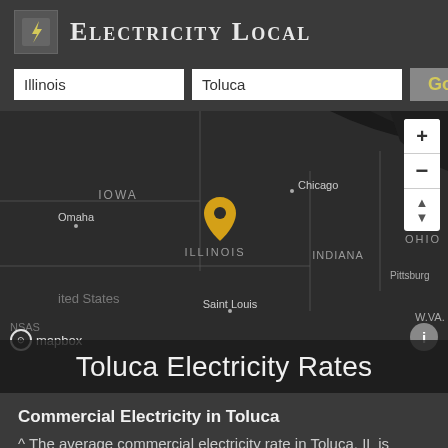Electricity Local
[Figure (map): Dark-themed Mapbox map centered on Illinois, USA, showing a yellow location pin over Illinois, with labels for Iowa, Omaha, Chicago, Indiana, Ohio, Detroit, Saint Louis, and other regions. Map controls (+/-/arrow) visible on right side.]
Toluca Electricity Rates
Commercial Electricity in Toluca
^ The average commercial electricity rate in Toluca, IL is 4.05¢/kWh.[1]
Residential Electricity in Toluca
^ The average residential electricity rate in Toluca, IL is